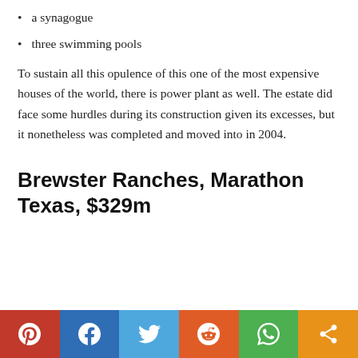a synagogue
three swimming pools
To sustain all this opulence of this one of the most expensive houses of the world, there is power plant as well. The estate did face some hurdles during its construction given its excesses, but it nonetheless was completed and moved into in 2004.
Brewster Ranches, Marathon Texas, $329m